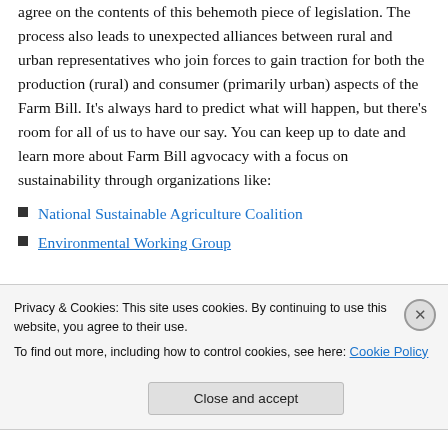agree on the contents of this behemoth piece of legislation. The process also leads to unexpected alliances between rural and urban representatives who join forces to gain traction for both the production (rural) and consumer (primarily urban) aspects of the Farm Bill. It's always hard to predict what will happen, but there's room for all of us to have our say. You can keep up to date and learn more about Farm Bill agvocacy with a focus on sustainability through organizations like:
National Sustainable Agriculture Coalition
Environmental Working Group
Privacy & Cookies: This site uses cookies. By continuing to use this website, you agree to their use.
To find out more, including how to control cookies, see here: Cookie Policy